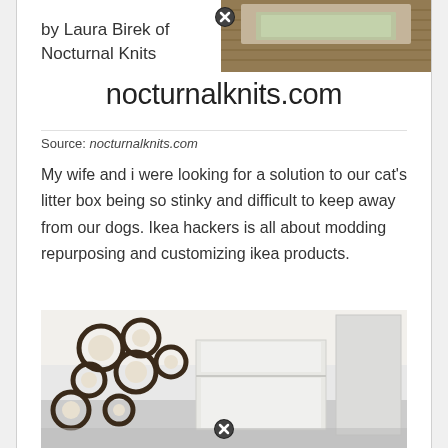[Figure (photo): Photo of a wicker/rattan basket with open lid showing a cat litter box inside, partially visible at top of page]
by Laura Birek of Nocturnal Knits
nocturnalknits.com
Source: nocturnalknits.com
My wife and i were looking for a solution to our cat's litter box being so stinky and difficult to keep away from our dogs. Ikea hackers is all about modding repurposing and customizing ikea products.
[Figure (photo): Photo of a room with circular wall art and white IKEA cabinet/furniture pieces arranged near wall]